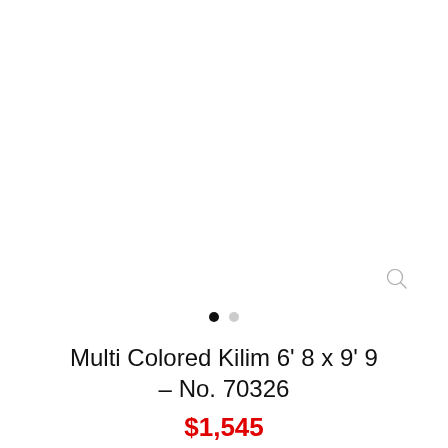[Figure (photo): Product image area — white/blank image placeholder for a Multi Colored Kilim rug]
Multi Colored Kilim 6' 8 x 9' 9 – No. 70326
$1,545